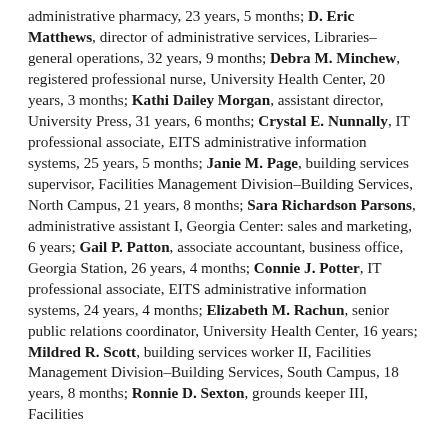administrative pharmacy, 23 years, 5 months; D. Eric Matthews, director of administrative services, Libraries–general operations, 32 years, 9 months; Debra M. Minchew, registered professional nurse, University Health Center, 20 years, 3 months; Kathi Dailey Morgan, assistant director, University Press, 31 years, 6 months; Crystal E. Nunnally, IT professional associate, EITS administrative information systems, 25 years, 5 months; Janie M. Page, building services supervisor, Facilities Management Division–Building Services, North Campus, 21 years, 8 months; Sara Richardson Parsons, administrative assistant I, Georgia Center: sales and marketing, 6 years; Gail P. Patton, associate accountant, business office, Georgia Station, 26 years, 4 months; Connie J. Potter, IT professional associate, EITS administrative information systems, 24 years, 4 months; Elizabeth M. Rachun, senior public relations coordinator, University Health Center, 16 years; Mildred R. Scott, building services worker II, Facilities Management Division–Building Services, South Campus, 18 years, 8 months; Ronnie D. Sexton, grounds keeper III, Facilities